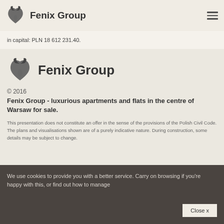Fenix Group
in capital: PLN 18 612 231.40.
[Figure (logo): Fenix Group logo with stylized bird/wing icon and bold text 'Fenix Group']
© 2016
Fenix Group - luxurious apartments and flats in the centre of Warsaw for sale.
This presentation does not constitute an offer in the sense of the provisions of the Polish Civil Code. The plans and visualisations shown are of a purely indicative nature. During construction, some details may be subject to change.
We use cookies to provide you with a better service. Carry on browsing if you're happy with this, or find out how to manage